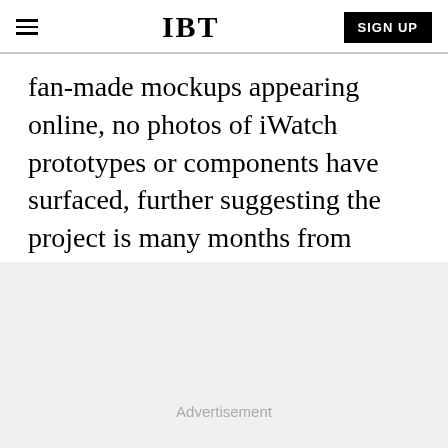IBT | SIGN UP
fan-made mockups appearing online, no photos of iWatch prototypes or components have surfaced, further suggesting the project is many months from completion.
[Figure (other): Advertisement placeholder area with light gray background]